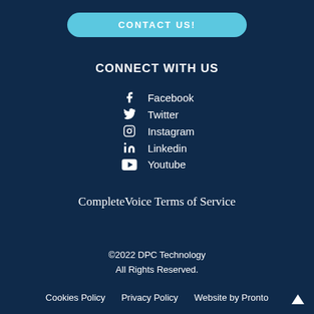CONTACT US!
CONNECT WITH US
Facebook
Twitter
Instagram
Linkedin
Youtube
CompleteVoice Terms of Service
©2022 DPC Technology All Rights Reserved. Cookies Policy  Privacy Policy  Website by Pronto